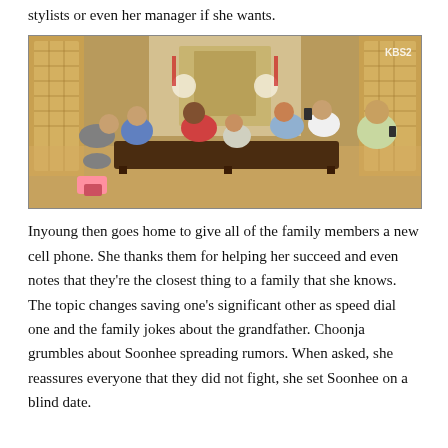stylists or even her manager if she wants.
[Figure (photo): A Korean family gathered in a traditional hanok-style room with wooden lattice screens. Several people are seated on the floor around low wooden tables, some looking at phones. A KBS2 watermark is visible in the top right corner.]
Inyoung then goes home to give all of the family members a new cell phone. She thanks them for helping her succeed and even notes that they’re the closest thing to a family that she knows. The topic changes saving one’s significant other as speed dial one and the family jokes about the grandfather. Choonja grumbles about Soonhee spreading rumors. When asked, she reassures everyone that they did not fight, she set Soonhee on a blind date.